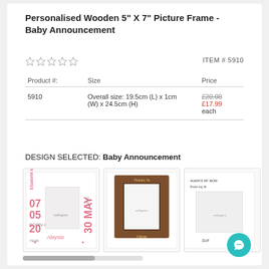Personalised Wooden 5" X 7" Picture Frame - Baby Announcement
ITEM # 5910
| Product #: | Size | Price |
| --- | --- | --- |
| 5910 | Overall size: 19.5cm (L) x 1cm (W) x 24.5cm (H) | £20.00 £17.99 each |
DESIGN SELECTED: Baby Announcement
[Figure (photo): Three product images of personalised wooden picture frames: left shows a baby announcement design with pink text and date details, center shows a wooden frame with engraved text, right shows a partially visible frame design.]